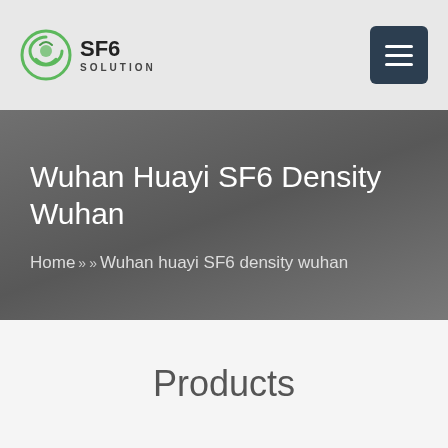SF6 SOLUTION
Wuhan Huayi SF6 Density Wuhan
Home » » Wuhan huayi SF6 density wuhan
Products